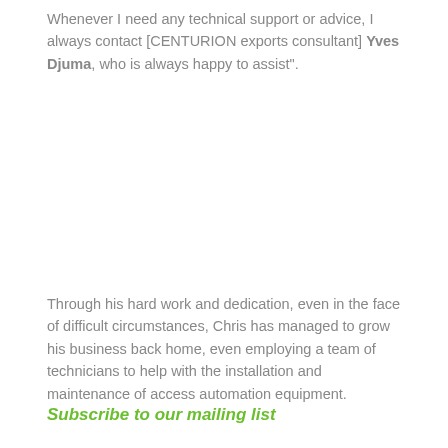Whenever I need any technical support or advice, I always contact [CENTURION exports consultant] Yves Djuma, who is always happy to assist".
Through his hard work and dedication, even in the face of difficult circumstances, Chris has managed to grow his business back home, even employing a team of technicians to help with the installation and maintenance of access automation equipment.
Subscribe to our mailing list